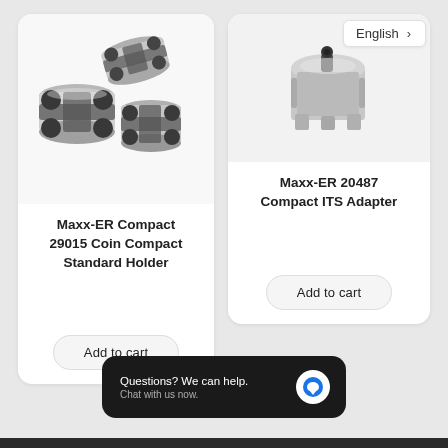[Figure (photo): Multiple silver/metallic Maxx-ER compact coin holders with cross-shaped cutouts, stacked together]
Maxx-ER Compact 29015 Coin Compact Standard Holder
Add to cart
[Figure (photo): Single silver metallic Maxx-ER compact ITS adapter with small black screw on top]
English >
Maxx-ER 20487 Compact ITS Adapter
Add to cart
Questions? We can help. Chat with us now.